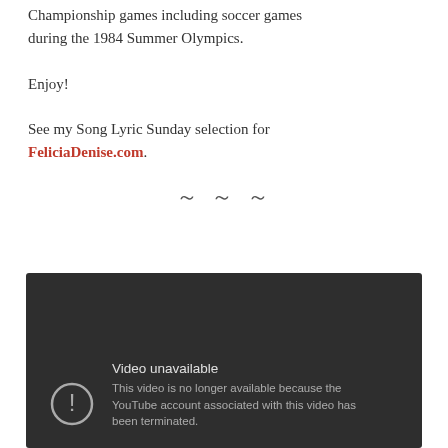Championship games including soccer games during the 1984 Summer Olympics.
Enjoy!
See my Song Lyric Sunday selection for FeliciaDenise.com.
~ ~ ~
[Figure (screenshot): Embedded YouTube video player showing an error message: 'Video unavailable - This video is no longer available because the YouTube account associated with this video has been terminated.']